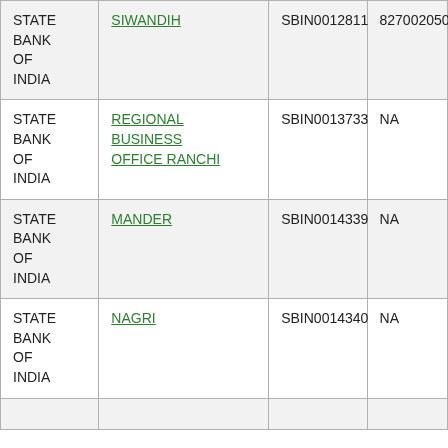| STATE BANK OF INDIA | SIWANDIH | SBIN0012811 | 827002050 |
| STATE BANK OF INDIA | REGIONAL BUSINESS OFFICE RANCHI | SBIN0013733 | NA |
| STATE BANK OF INDIA | MANDER | SBIN0014339 | NA |
| STATE BANK OF INDIA | NAGRI | SBIN0014340 | NA |